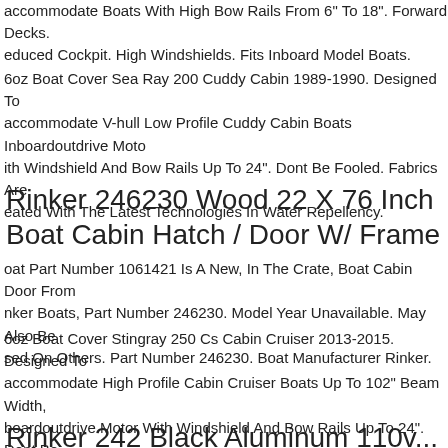accommodate Boats With High Bow Rails From 6" To 18". Forward Decks. educed Cockpit. High Windshields. Fits Inboard Model Boats.
6oz Boat Cover Sea Ray 200 Cuddy Cabin 1989-1990. Designed To accommodate V-hull Low Profile Cuddy Cabin Boats Inboardoutdrive Motor ith Windshield And Bow Rails Up To 24". Dont Be Fooled. Fabrics Are eated With The Latest Technologies In Water Repellency.
Rinker 246230 Wood 22 X 76 Inch Boat Cabin Hatch / Door W/ Frame
oat Part Number 1061421 Is A New, In The Crate, Boat Cabin Door From nker Boats, Part Number 246230. Model Year Unavailable. May Also Be sed On Others. Part Number 246230. Boat Manufacturer Rinker.
6oz Boat Cover Stingray 250 Cs Cabin Cruiser 2013-2015. Designed To accommodate High Profile Cabin Cruiser Boats Up To 102" Beam Width, boardoutdrive Motor With Windshield And Bow Rails Up To 24". Dont Be ooled. Fabrics Are Treated With The Latest Technologies In Water epellency.
Rinker 242 Black Aluminum 110v...